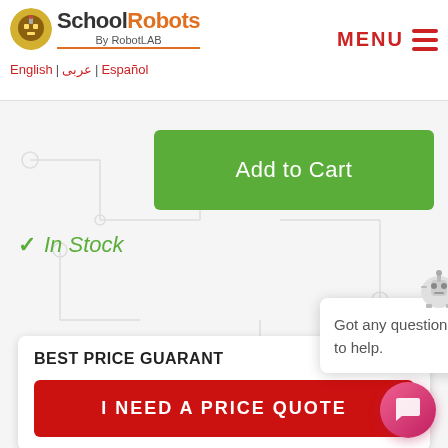[Figure (logo): SchoolRobots by RobotLAB logo with robot icon]
English | عربى | Español
MENU
[Figure (screenshot): Website screenshot with circuit board background pattern]
Add to Cart
✓ In Stock
BEST PRICE GUARANT...
I NEED A PRICE QUOTE
Got any questions? I'm happy to help.